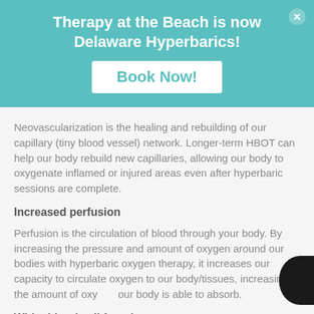Therapy at the Beach is now Delaware Hyperbarics!
Book Now!
Neovascularization is the healing and rebuilding of our capillary (tiny blood vessel) network. Longer-term HBOT can help our body rebuild new capillaries, allowing our body to oxygenate inflamed or injured areas even after hyperbaric sessions are complete.
Increased perfusion
Perfusion is the circulation of blood through your body. By increasing the pressure and amount of oxygen around our bodies with hyperbaric oxygen therapy, it increases our capacity to circulate oxygen to our body/tissues, increasing the amount of oxygen our body is able to absorb.
White blood cell function